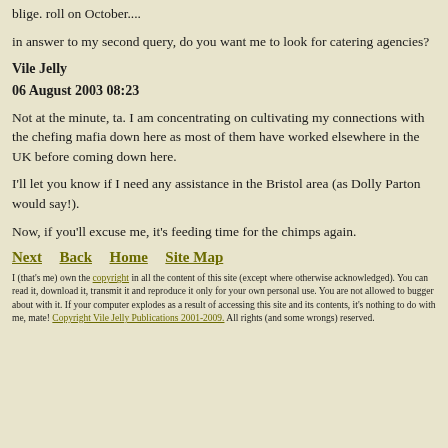blige. roll on October....
in answer to my second query, do you want me to look for catering agencies?
Vile Jelly
06 August 2003 08:23
Not at the minute, ta. I am concentrating on cultivating my connections with the chefing mafia down here as most of them have worked elsewhere in the UK before coming down here.
I'll let you know if I need any assistance in the Bristol area (as Dolly Parton would say!).
Now, if you'll excuse me, it's feeding time for the chimps again.
Next   Back   Home   Site Map
I (that's me) own the copyright in all the content of this site (except where otherwise acknowledged). You can read it, download it, transmit it and reproduce it only for your own personal use. You are not allowed to bugger about with it. If your computer explodes as a result of accessing this site and its contents, it's nothing to do with me, mate! Copyright Vile Jelly Publications 2001-2009. All rights (and some wrongs) reserved.